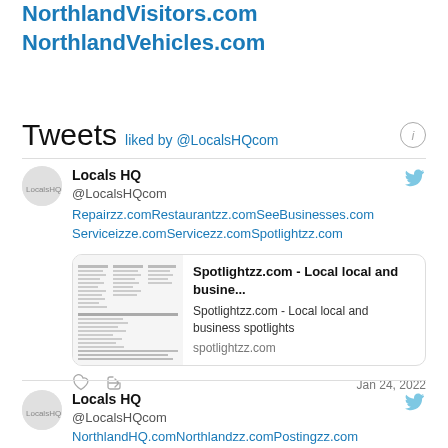NorthlandVisitors.com
NorthlandVehicles.com
Tweets liked by @LocalsHQcom
Locals HQ @LocalsHQcom Repairzz.comRestaurantzz.comSeeBusinesses.com Serviceizze.comServicezz.comSpotlightzz.com
[Figure (screenshot): Thumbnail image of Spotlightzz.com webpage]
Spotlightzz.com - Local local and busine... Spotlightzz.com - Local local and business spotlights spotlightzz.com
Jan 24, 2022
Locals HQ @LocalsHQcom NorthlandHQ.comNorthlandzz.comPostingzz.com